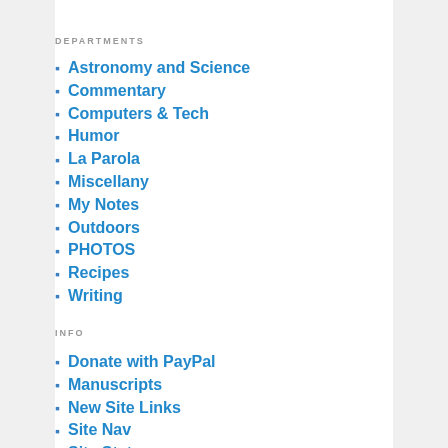DEPARTMENTS
Astronomy and Science
Commentary
Computers & Tech
Humor
La Parola
Miscellany
My Notes
Outdoors
PHOTOS
Recipes
Writing
INFO
Donate with PayPal
Manuscripts
New Site Links
Site Nav
Site Status